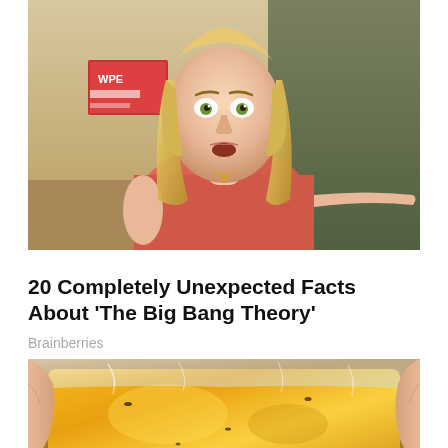[Figure (photo): A blonde woman in a pink/coral t-shirt with a surprised or concerned expression, arms slightly spread, in what appears to be a TV show set (The Big Bang Theory)]
20 Completely Unexpected Facts About 'The Big Bang Theory'
Brainberries
[Figure (photo): Close-up photo of a plastic bag containing an orange/yellow liquid, possibly a drink or honey, held by fingers]